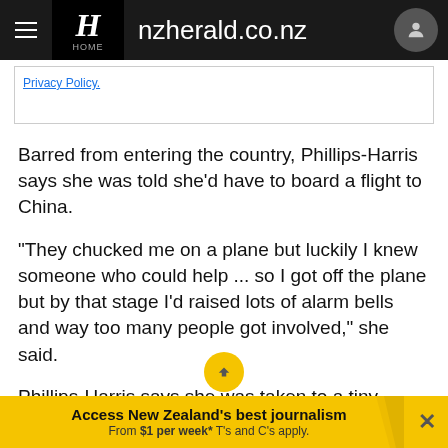nzherald.co.nz
Privacy Policy.
Barred from entering the country, Phillips-Harris says she was told she'd have to board a flight to China.
"They chucked me on a plane but luckily I knew someone who could help ... so I got off the plane but by that stage I'd raised lots of alarm bells and way too many people got involved," she said.
Phillips-Harris says she was taken to a tiny interrogation room where there was a large group of
Access New Zealand's best journalism From $1 per week* T's and C's apply.